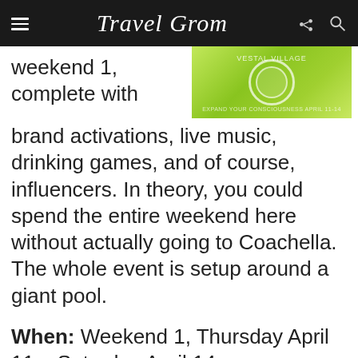Travel Grom
[Figure (photo): Green event poster image for a festival, partial view]
weekend 1, complete with brand activations, live music, drinking games, and of course, influencers. In theory, you could spend the entire weekend here without actually going to Coachella. The whole event is setup around a giant pool.
When: Weekend 1, Thursday April 11 – Saturday April 14
Where: Vestal Village 2019 returns to the same beautiful location as last year, set in the foothills desert mountains. Location is only revealed to those attending.